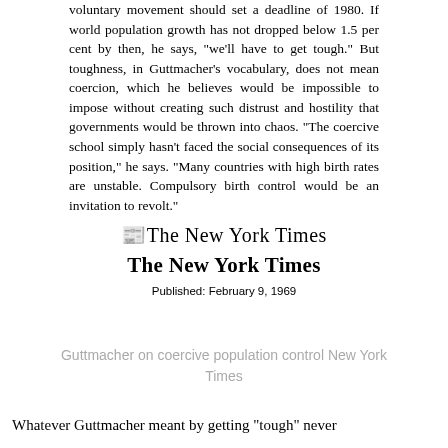voluntary movement should set a deadline of 1980. If world population growth has not dropped below 1.5 per cent by then, he says, "we'll have to get tough." But toughness, in Guttmacher's vocabulary, does not mean coercion, which he believes would be impossible to impose without creating such distrust and hostility that governments would be thrown into chaos. "The coercive school simply hasn't faced the social consequences of its position," he says. "Many countries with high birth rates are unstable. Compulsory birth control would be an invitation to revolt."
[Figure (logo): The New York Times masthead logo in blackletter font]
Published: February 9, 1969
Guttmacher on coercive population control New York Times
Whatever Guttmacher meant by getting “tough” never